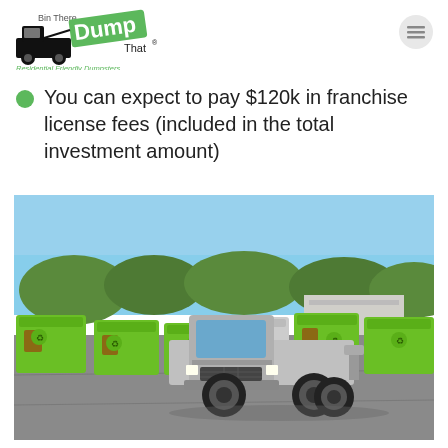[Figure (logo): Bin There Dump That logo — truck with green dump containers and stylized 'Dump' text. Tagline: Residential Friendly Dumpsters.]
You can expect to pay $120k in franchise license fees (included in the total investment amount)
[Figure (photo): Outdoor photo of a silver Ford flatbed truck parked in a lot surrounded by bright green roll-off dumpster containers with trees and a blue sky in the background.]